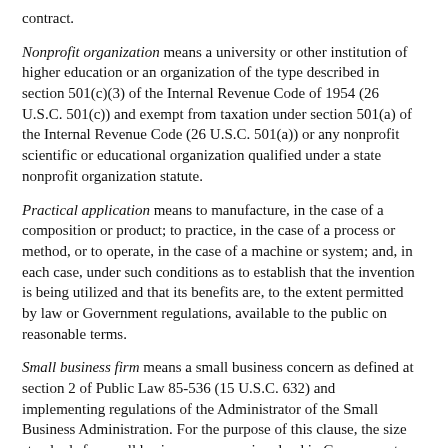contract.
Nonprofit organization means a university or other institution of higher education or an organization of the type described in section 501(c)(3) of the Internal Revenue Code of 1954 (26 U.S.C. 501(c)) and exempt from taxation under section 501(a) of the Internal Revenue Code (26 U.S.C. 501(a)) or any nonprofit scientific or educational organization qualified under a state nonprofit organization statute.
Practical application means to manufacture, in the case of a composition or product; to practice, in the case of a process or method, or to operate, in the case of a machine or system; and, in each case, under such conditions as to establish that the invention is being utilized and that its benefits are, to the extent permitted by law or Government regulations, available to the public on reasonable terms.
Small business firm means a small business concern as defined at section 2 of Public Law 85-536 (15 U.S.C. 632) and implementing regulations of the Administrator of the Small Business Administration. For the purpose of this clause, the size standards for small business concerns involved in Government procurement and subcontracting at 13 CFR 121.3-8 and 13 CFR 121.3-12, respectively, will be used.